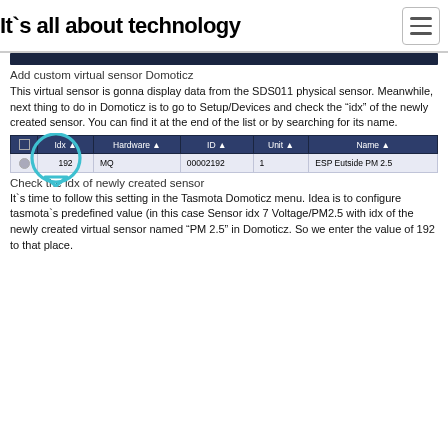It`s all about technology
[Figure (screenshot): Dark top bar of a website/application screenshot]
Add custom virtual sensor Domoticz
This virtual sensor is gonna display data from the SDS011 physical sensor. Meanwhile, next thing to do in Domoticz is to go to Setup/Devices and check the “idx” of the newly created sensor. You can find it at the end of the list or by searching for its name.
[Figure (screenshot): Table showing device list with columns: checkbox, dot, Idx (circled, value 192), Hardware (MQ), ID (00002192), Unit (1), Name (ESP Eutside PM 2.5). The Idx column is highlighted with a teal circle annotation.]
Check the idx of newly created sensor
It`s time to follow this setting in the Tasmota Domoticz menu. Idea is to configure tasmota`s predefined value (in this case Sensor idx 7 Voltage/PM2.5 with idx of the newly created virtual sensor named “PM 2.5” in Domoticz. So we enter the value of 192 to that place.